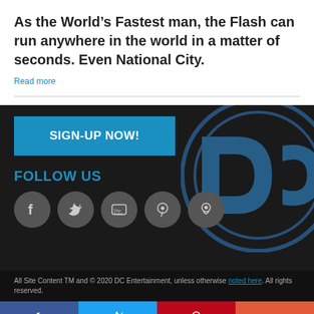As the World’s Fastest man, the Flash can run anywhere in the world in a matter of seconds. Even National City.
Read more
SIGN-UP NOW!
FOLLOW US
[Figure (logo): DC Comics logo watermark in blue on dark background]
[Figure (infographic): Social media icons: Facebook, Twitter, YouTube, Pinterest, Periscope]
All Site Content TM and © 2020 DC Entertainment, unless otherwise noted here. All rights reserved.
Share buttons: Facebook, Twitter, Pinterest, More